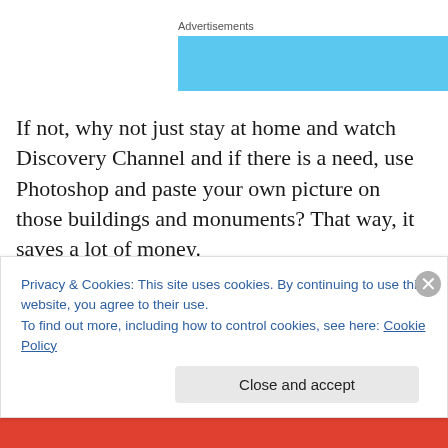Advertisements
[Figure (other): Light blue advertisement banner placeholder]
If not, why not just stay at home and watch Discovery Channel and if there is a need, use Photoshop and paste your own picture on those buildings and monuments? That way, it saves a lot of money.
(some photo credit many thanks to Kit Liew!)
Privacy & Cookies: This site uses cookies. By continuing to use this website, you agree to their use.
To find out more, including how to control cookies, see here: Cookie Policy
Close and accept